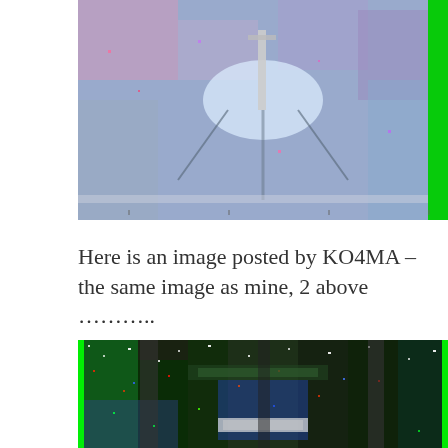[Figure (photo): Photograph of an antenna or metallic object with colorful noise/interference patterns, green stripe on right edge]
Here is an image posted by KO4MA – the same image as mine, 2 above ……….
[Figure (photo): Heavily distorted/noisy SSTV image with colorful interference patterns showing partial text and structures, predominantly green, blue, black and white noise]